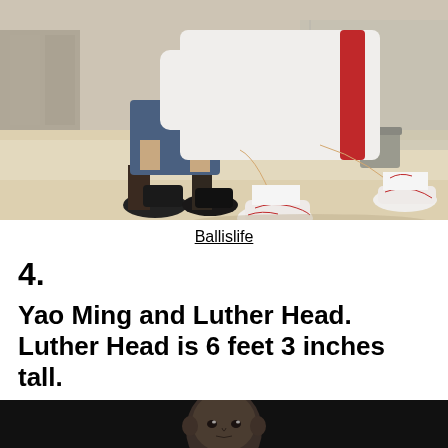[Figure (photo): Basketball player in white uniform doing a lunge stretch on a gym floor, with another person standing nearby wearing shorts and dark sneakers. Red and white Nike shoes visible.]
Ballislife
4.
Yao Ming and Luther Head. Luther Head is 6 feet 3 inches tall.
[Figure (photo): Close-up photo of Yao Ming's face against a dark background.]